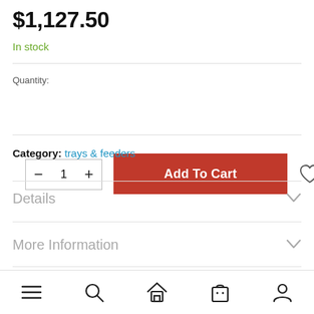$1,127.50
In stock
Quantity: 1  Add To Cart
Category: trays & feeders
Details
More Information
Reviews
[Figure (other): Bottom navigation bar with menu, search, home, cart, and account icons]